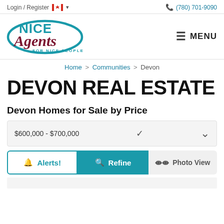Login / Register  (780) 701-9090
[Figure (logo): Nice Agents for Nice People logo with teal oval and burgundy cursive text]
Home > Communities > Devon
DEVON REAL ESTATE
Devon Homes for Sale by Price
$600,000 - $700,000
Alerts!  Refine  Photo View